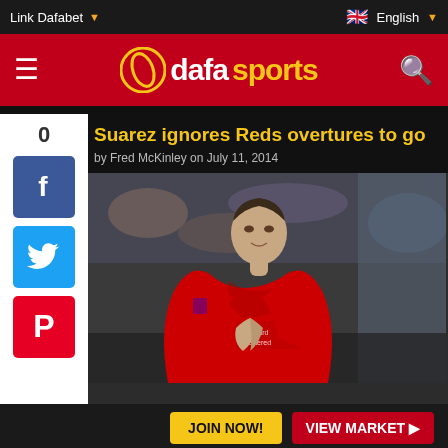Link Dafabet | English
[Figure (logo): Dafa Sports logo with red background header bar showing hamburger menu icon on left, circular dafa logo icon, 'dafa' in white and 'sports' in yellow text, and search icon on right]
Suarez ignores Reds overtures to go
by Fred McKinley on July 11, 2014
[Figure (photo): Photo of Luis Suarez in a red Liverpool FC jersey (Standard Chartered sponsor) with hands clasped together in front of his face, looking upward, with a blurred crowd in the background]
JOIN NOW! VIEW MARKET ▶